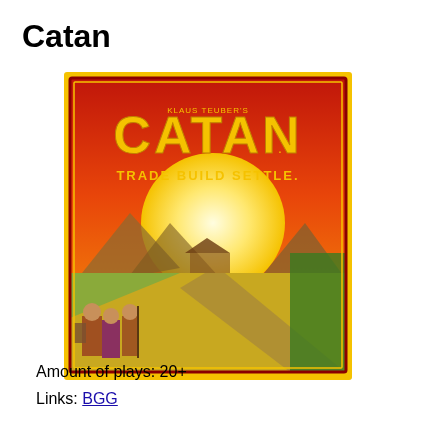Catan
[Figure (photo): Box cover of the Catan board game showing the title 'CATAN' in large yellow letters on a red background with the subtitle 'TRADE BUILD SETTLE.' and an illustrated landscape scene with three settlers walking a path through fields toward mountains and a large setting sun.]
Amount of plays: 20+
Links: BGG